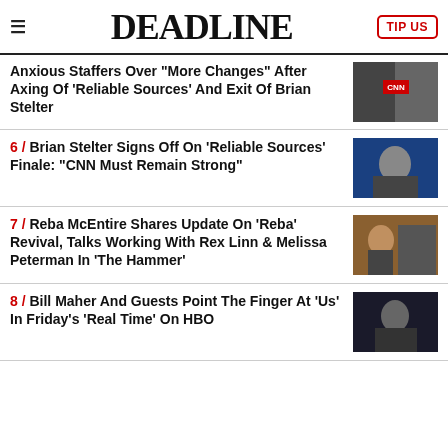DEADLINE
Anxious Staffers Over "More Changes" After Axing Of 'Reliable Sources' And Exit Of Brian Stelter
6 / Brian Stelter Signs Off On 'Reliable Sources' Finale: "CNN Must Remain Strong"
7 / Reba McEntire Shares Update On 'Reba' Revival, Talks Working With Rex Linn & Melissa Peterman In 'The Hammer'
8 / Bill Maher And Guests Point The Finger At 'Us' In Friday's 'Real Time' On HBO